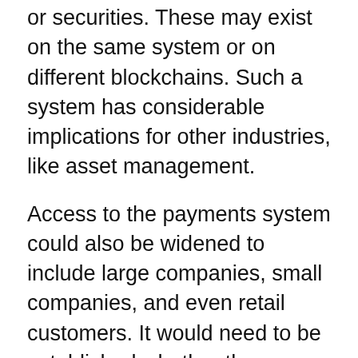or securities. These may exist on the same system or on different blockchains. Such a system has considerable implications for other industries, like asset management.
Access to the payments system could also be widened to include large companies, small companies, and even retail customers. It would need to be established whether these parties have direct access via their own nodes or as clients of existing node owners and, if they operate nodes, then the role that those nodes play in the consensus process."
You'd think the way the chicken realizes it can run is by first trying to crawl. This, arguably, is what the central bank has done here in a very